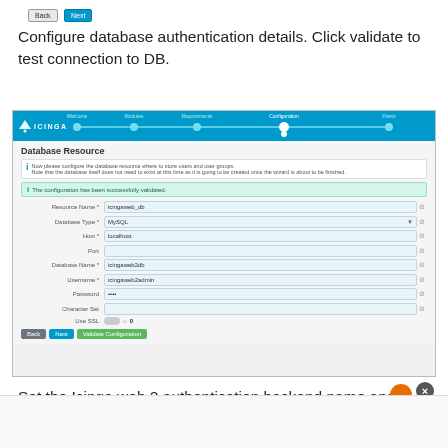[Figure (screenshot): Back and Next buttons at top of page]
Configure database authentication details. Click validate to test connection to DB.
[Figure (screenshot): Icinga web 2 setup wizard screenshot showing Database Resource configuration form with fields: Resource Name (icingaweb_db), Database Type (MySQL), Host (localhost), Port, Database Name (icingaweb2db), Username (icingaweb2admin), Password (****), Character Set, Use SSL. A green success bar reads 'The configuration has been successfully validated.' Buttons: Back, Next, Validate Configuration.]
Set the Icinga web 2 authentication backend name and click Next.